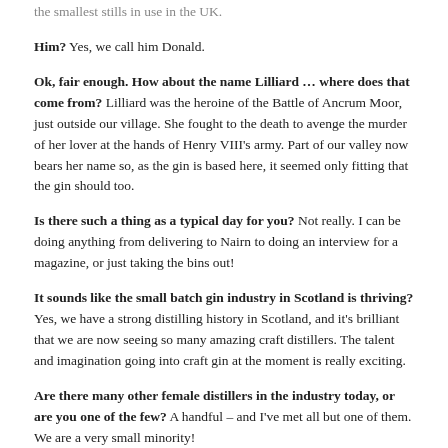the smallest stills in use in the UK.
Him? Yes, we call him Donald.
Ok, fair enough. How about the name Lilliard … where does that come from? Lilliard was the heroine of the Battle of Ancrum Moor, just outside our village. She fought to the death to avenge the murder of her lover at the hands of Henry VIII's army. Part of our valley now bears her name so, as the gin is based here, it seemed only fitting that the gin should too.
Is there such a thing as a typical day for you? Not really. I can be doing anything from delivering to Nairn to doing an interview for a magazine, or just taking the bins out!
It sounds like the small batch gin industry in Scotland is thriving? Yes, we have a strong distilling history in Scotland, and it's brilliant that we are now seeing so many amazing craft distillers. The talent and imagination going into craft gin at the moment is really exciting.
Are there many other female distillers in the industry today, or are you one of the few? A handful – and I've met all but one of them. We are a very small minority!